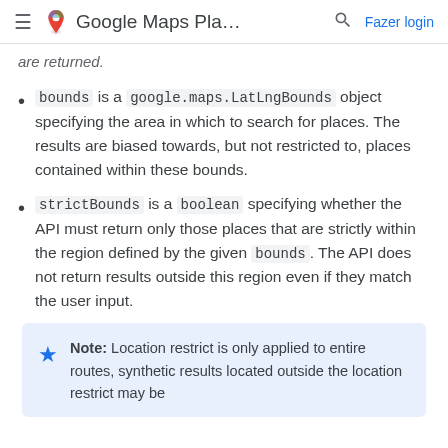≡ Google Maps Pla... 🔍 Fazer login
are returned.
bounds is a google.maps.LatLngBounds object specifying the area in which to search for places. The results are biased towards, but not restricted to, places contained within these bounds.
strictBounds is a boolean specifying whether the API must return only those places that are strictly within the region defined by the given bounds. The API does not return results outside this region even if they match the user input.
Note: Location restrict is only applied to entire routes, synthetic results located outside the location restrict may be